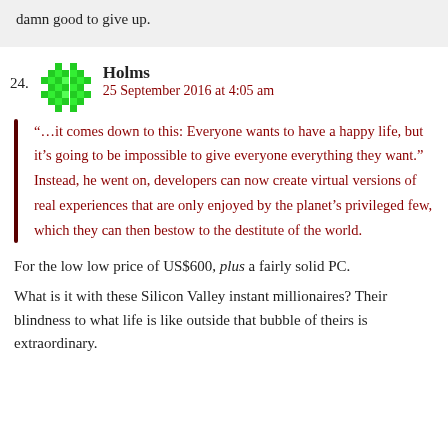damn good to give up.
24. Holms
25 September 2016 at 4:05 am
“…it comes down to this: Everyone wants to have a happy life, but it’s going to be impossible to give everyone everything they want.” Instead, he went on, developers can now create virtual versions of real experiences that are only enjoyed by the planet’s privileged few, which they can then bestow to the destitute of the world.
For the low low price of US$600, plus a fairly solid PC.
What is it with these Silicon Valley instant millionaires? Their blindness to what life is like outside that bubble of theirs is extraordinary.